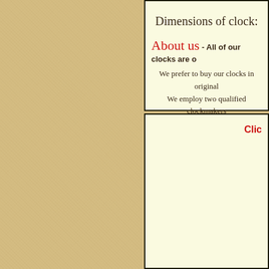Dimensions of clock:
About us - All of our clocks are o...
We prefer to buy our clocks in original...
We employ two qualified clockmakers...
Clic...